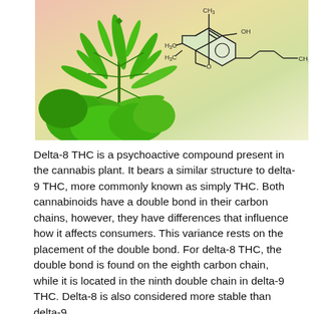[Figure (illustration): Photo of a cannabis plant with green leaves on the left, overlaid with a chemical structure diagram of Delta-8 THC on the right side. The molecular structure shows fused ring systems with substituents labeled CH3 (top), OH (top right), H3C (left), H3C (bottom left), O (ring oxygen), and CH3 (far right on a pentyl chain).]
Delta-8 THC is a psychoactive compound present in the cannabis plant. It bears a similar structure to delta-9 THC, more commonly known as simply THC. Both cannabinoids have a double bond in their carbon chains, however, they have differences that influence how it affects consumers. This variance rests on the placement of the double bond. For delta-8 THC, the double bond is found on the eighth carbon chain, while it is located in the ninth double chain in delta-9 THC. Delta-8 is also considered more stable than delta-9...